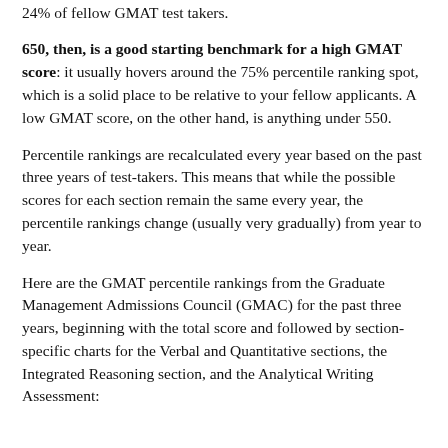24% of fellow GMAT test takers.
650, then, is a good starting benchmark for a high GMAT score: it usually hovers around the 75% percentile ranking spot, which is a solid place to be relative to your fellow applicants. A low GMAT score, on the other hand, is anything under 550.
Percentile rankings are recalculated every year based on the past three years of test-takers. This means that while the possible scores for each section remain the same every year, the percentile rankings change (usually very gradually) from year to year.
Here are the GMAT percentile rankings from the Graduate Management Admissions Council (GMAC) for the past three years, beginning with the total score and followed by section-specific charts for the Verbal and Quantitative sections, the Integrated Reasoning section, and the Analytical Writing Assessment: